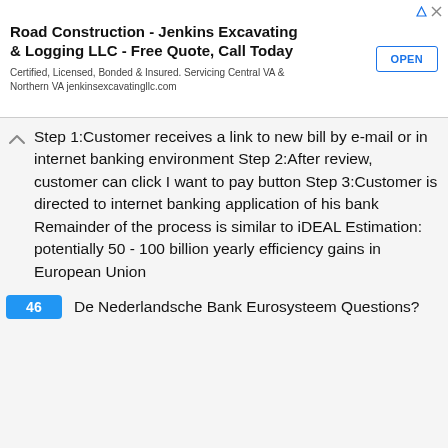[Figure (screenshot): Advertisement banner: Road Construction - Jenkins Excavating & Logging LLC - Free Quote, Call Today. Certified, Licensed, Bonded & Insured. Servicing Central VA & Northern VA jenkinsexcavatingllc.com. OPEN button on right.]
Step 1:Customer receives a link to new bill by e-mail or in internet banking environment Step 2:After review, customer can click I want to pay button Step 3:Customer is directed to internet banking application of his bank Remainder of the process is similar to iDEAL Estimation: potentially 50 - 100 billion yearly efficiency gains in European Union
46  De Nederlandsche Bank Eurosysteem Questions?